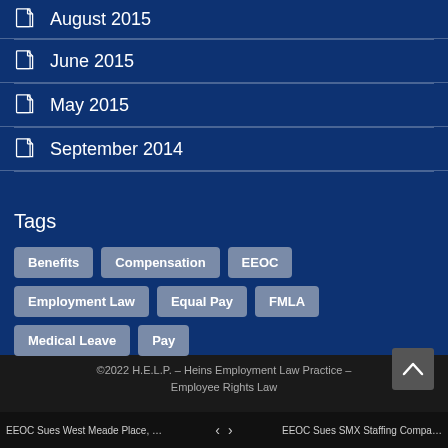August 2015
June 2015
May 2015
September 2014
Tags
Benefits
Compensation
EEOC
Employment Law
Equal Pay
FMLA
Medical Leave
Pay
©2022 H.E.L.P. – Heins Employment Law Practice – Employee Rights Law
EEOC Sues West Meade Place, LL... | EEOC Sues SMX Staffing Compan...